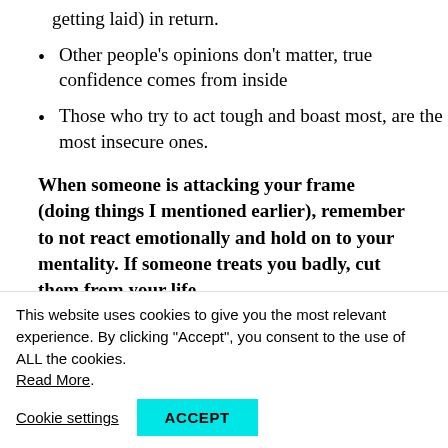getting laid) in return.
Other people's opinions don't matter, true confidence comes from inside
Those who try to act tough and boast most, are the most insecure ones.
When someone is attacking your frame (doing things I mentioned earlier), remember to not react emotionally and hold on to your mentality. If someone treats you badly, cut them from your life.
This website uses cookies to give you the most relevant experience. By clicking “Accept”, you consent to the use of ALL the cookies. Read More.
Cookie settings   ACCEPT